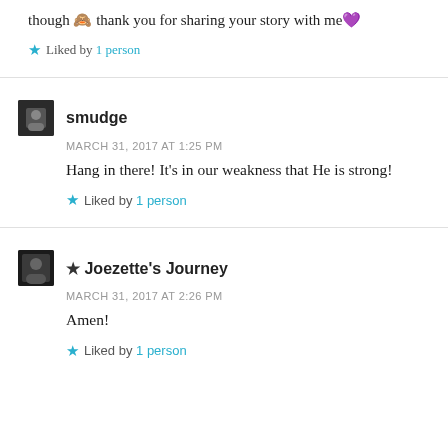though 🙈 thank you for sharing your story with me 💜
Liked by 1 person
smudge
MARCH 31, 2017 AT 1:25 PM
Hang in there! It's in our weakness that He is strong!
Liked by 1 person
★ Joezette's Journey
MARCH 31, 2017 AT 2:26 PM
Amen!
Liked by 1 person